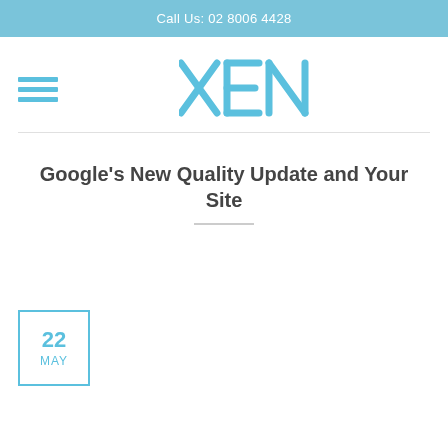Call Us: 02 8006 4428
[Figure (logo): XEN logo in blue with stylized X and horizontal lines through E]
Google’s New Quality Update and Your Site
22 MAY